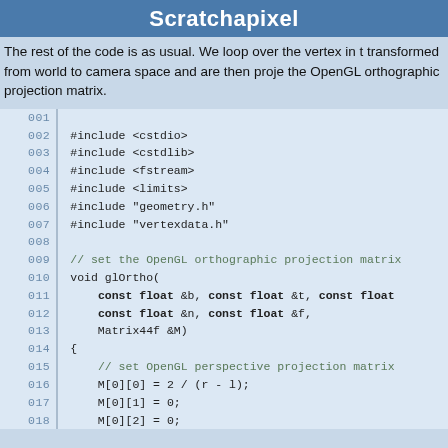Scratchapixel
The rest of the code is as usual. We loop over the vertex in the transformed from world to camera space and are then projected using the OpenGL orthographic projection matrix.
[Figure (screenshot): Code block showing C++ source lines 001-018 including includes, glOrtho function definition with const float parameters, and M[0][0], M[0][1], M[0][2] assignments]